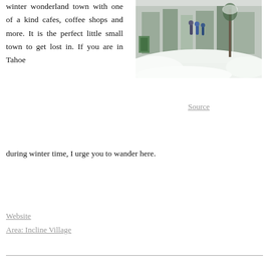winter wonderland town with one of a kind cafes, coffee shops and more. It is the perfect little small town to get lost in. If you are in Tahoe during winter time, I urge you to wander here.
[Figure (photo): Snow-covered street scene with people walking and heavy snow banks, winter town setting]
Source
Website
Area: Incline Village